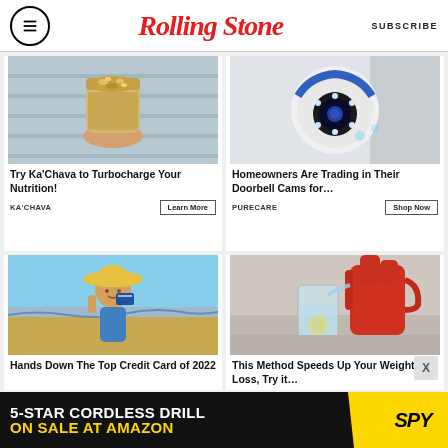RollingStone | SUBSCRIBE
[Figure (photo): Ka'Chava smoothie bowl with oats/seeds topping held in hand]
Try Ka'Chava to Turbocharge Your Nutrition!
KA'CHAVA
Learn More
[Figure (photo): White security camera with blue LED ring lights]
Homeowners Are Trading in Their Doorbell Cams for...
PURECARE
Shop Now
[Figure (photo): Woman in yellow hat at beach holding credit card]
Hands Down The Top Credit Card of 2022
[Figure (photo): Person in red pouring water into glass with lemon]
This Method Speeds Up Your Weight Loss, Try it...
[Figure (infographic): 5-STAR CORDLESS DRILL ON SALE AT AMAZON banner ad with SPY logo]